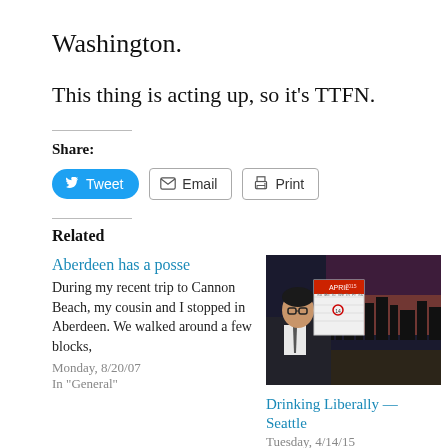Washington.
This thing is acting up, so it's TTFN.
Share:
Tweet  Email  Print
Related
Aberdeen has a posse
During my recent trip to Cannon Beach, my cousin and I stopped in Aberdeen. We walked around a few blocks,
Monday, 8/20/07
In "General"
[Figure (photo): A man in a suit on a TV show set holding a calendar showing April]
Drinking Liberally — Seattle
Tuesday, 4/14/15